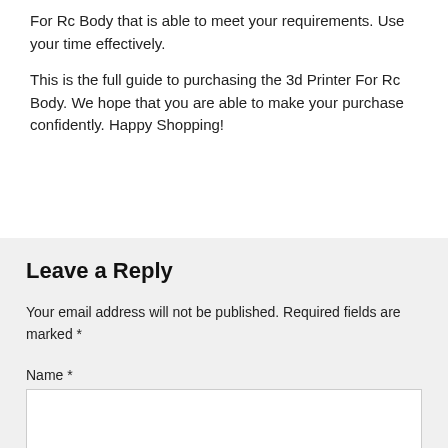For Rc Body that is able to meet your requirements. Use your time effectively.
This is the full guide to purchasing the 3d Printer For Rc Body. We hope that you are able to make your purchase confidently. Happy Shopping!
Leave a Reply
Your email address will not be published. Required fields are marked *
Name *